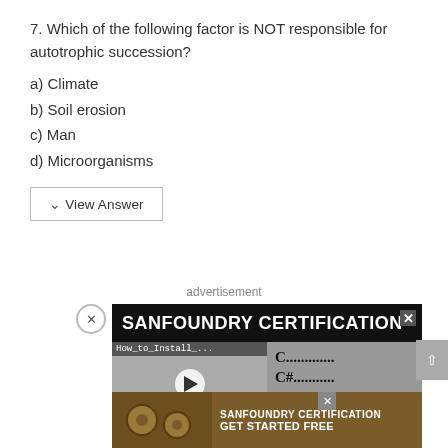7. Which of the following factor is NOT responsible for autotrophic succession?
a) Climate
b) Soil erosion
c) Man
d) Microorganisms
View Answer
advertisement
[Figure (screenshot): Sanfoundry Certification advertisement banner with video tutorial showing How_to_Install and code language listings (C, C#, C++, Java, Python)]